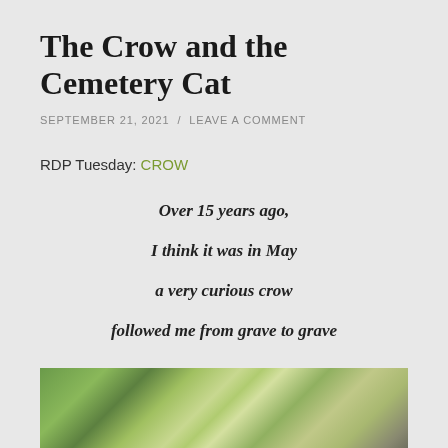The Crow and the Cemetery Cat
SEPTEMBER 21, 2021 / LEAVE A COMMENT
RDP Tuesday: CROW
Over 15 years ago,
I think it was in May
a very curious crow
followed me from grave to grave
[Figure (photo): Outdoor photograph showing green trees and foliage with light filtering through, likely taken in a cemetery setting]